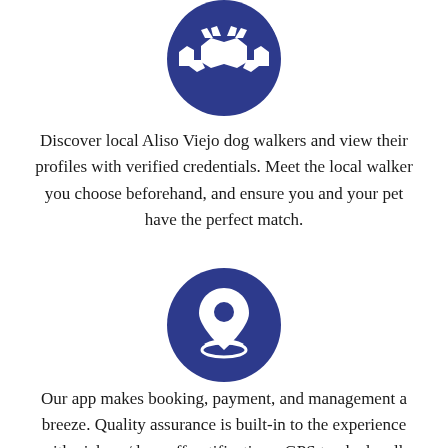[Figure (illustration): Dark blue circle icon with white handshake symbol]
Discover local Aliso Viejo dog walkers and view their profiles with verified credentials. Meet the local walker you choose beforehand, and ensure you and your pet have the perfect match.
[Figure (illustration): Dark blue circle icon with white location pin and orbit ring symbol]
Our app makes booking, payment, and management a breeze. Quality assurance is built-in to the experience with pick-up/drop off notifications, GPS tracked walk routes, and